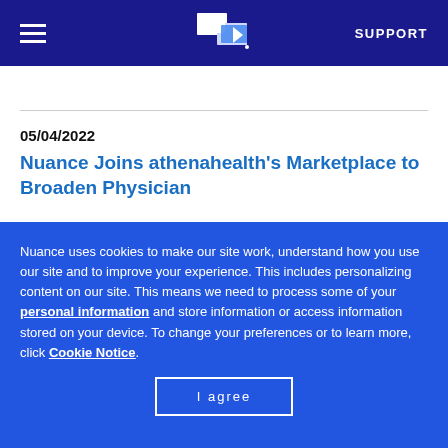SUPPORT
05/04/2022
Nuance Joins athenahealth's Marketplace to Broaden Physician
Nuance uses cookies to make our site work, understand how you use our site and to improve your experience. This includes personalizing content on our site. This means we need to process some of your personal information and store information or access information stored on your device. To change your preferences or to learn more, click Cookie Notice.
I agree